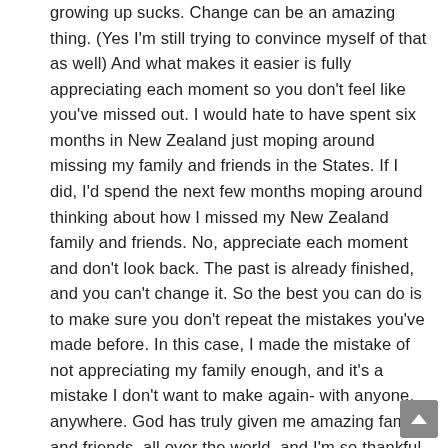growing up sucks. Change can be an amazing thing. (Yes I'm still trying to convince myself of that as well) And what makes it easier is fully appreciating each moment so you don't feel like you've missed out. I would hate to have spent six months in New Zealand just moping around missing my family and friends in the States. If I did, I'd spend the next few months moping around thinking about how I missed my New Zealand family and friends. No, appreciate each moment and don't look back. The past is already finished, and you can't change it. So the best you can do is to make sure you don't repeat the mistakes you've made before. In this case, I made the mistake of not appreciating my family enough, and it's a mistake I don't want to make again- with anyone, anywhere. God has truly given me amazing family and friends, all over the world, and I'm so thankful for each one of them.

Have you been taking anything for granted lately? As Dr. Seuss put it, 'Sometimes you don't know the value of a moment until it